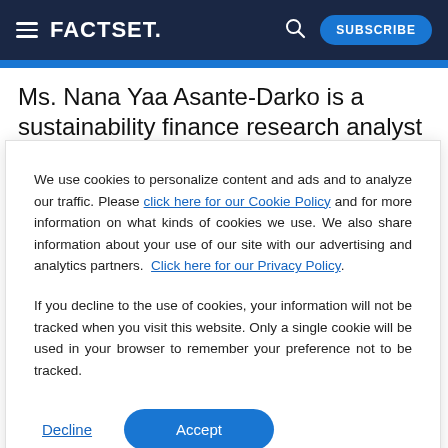FACTSET | SUBSCRIBE
Ms. Nana Yaa Asante-Darko is a sustainability finance research analyst at Entelligent. In this role, she
We use cookies to personalize content and ads and to analyze our traffic. Please click here for our Cookie Policy and for more information on what kinds of cookies we use. We also share information about your use of our site with our advertising and analytics partners. Click here for our Privacy Policy.
If you decline to the use of cookies, your information will not be tracked when you visit this website. Only a single cookie will be used in your browser to remember your preference not to be tracked.
Decline | Accept